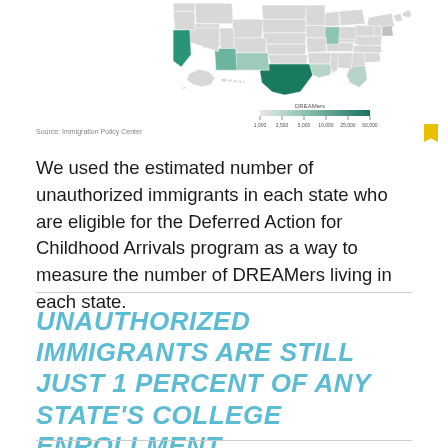[Figure (map): US choropleth map showing DREAMers by state, with darker teal shading indicating higher concentrations. California and Texas are the darkest. A legend at the bottom shows a gradient scale labeled DREAMers from 1,000 to 200,000+.]
Source: Immigration Policy Center
We used the estimated number of unauthorized immigrants in each state who are eligible for the Deferred Action for Childhood Arrivals program as a way to measure the number of DREAMers living in each state.
UNAUTHORIZED IMMIGRANTS ARE STILL JUST 1 PERCENT OF ANY STATE'S COLLEGE ENROLLMENT